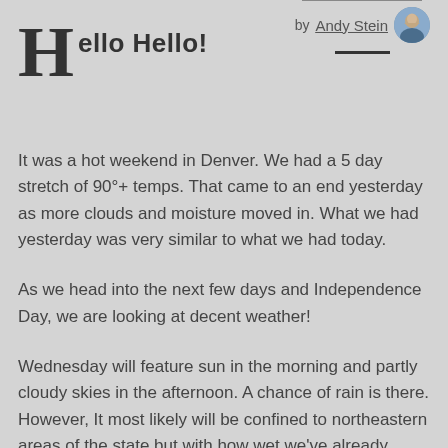Hello Hello!
by Andy Stein
It was a hot weekend in Denver. We had a 5 day stretch of 90°+ temps. That came to an end yesterday as more clouds and moisture moved in. What we had yesterday was very similar to what we had today.
As we head into the next few days and Independence Day, we are looking at decent weather!
Wednesday will feature sun in the morning and partly cloudy skies in the afternoon. A chance of rain is there. However, It most likely will be confined to northeastern areas of the state but with how wet we've already been, I wouldn't be surprised to see